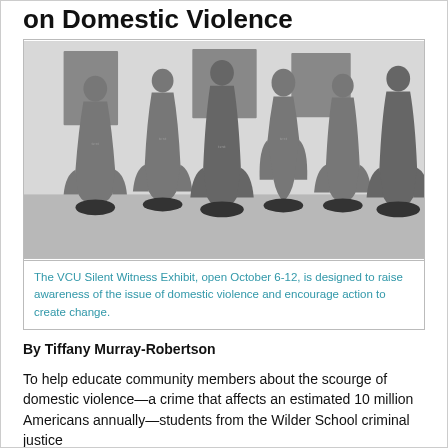on Domestic Violence
[Figure (photo): Black and white photo of six human silhouette cutouts standing upright in a row, with photographs displayed on the wall behind them. The silhouettes represent domestic violence victims displayed in the VCU Silent Witness Exhibit.]
The VCU Silent Witness Exhibit, open October 6-12, is designed to raise awareness of the issue of domestic violence and encourage action to create change.
By Tiffany Murray-Robertson
To help educate community members about the scourge of domestic violence—a crime that affects an estimated 10 million Americans annually—students from the Wilder School criminal justice